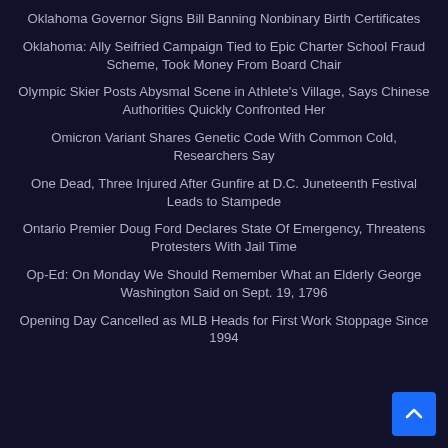Oklahoma Governor Signs Bill Banning Nonbinary Birth Certificates
Oklahoma: Ally Seifried Campaign Tied to Epic Charter School Fraud Scheme, Took Money From Board Chair
Olympic Skier Posts Abysmal Scene in Athlete's Village, Says Chinese Authorities Quickly Confronted Her
Omicron Variant Shares Genetic Code With Common Cold, Researchers Say
One Dead, Three Injured After Gunfire at D.C. Juneteenth Festival Leads to Stampede
Ontario Premier Doug Ford Declares State Of Emergency, Threatens Protesters With Jail Time
Op-Ed: On Monday We Should Remember What an Elderly George Washington Said on Sept. 19, 1796
Opening Day Cancelled as MLB Heads for First Work Stoppage Since 1994